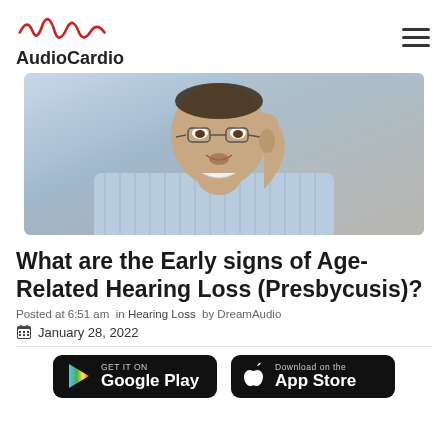AudioCardio
[Figure (photo): Elderly Asian man in blue striped shirt holding his hand up to his ear, appearing to have difficulty hearing, with glasses.]
What are the Early signs of Age-Related Hearing Loss (Presbycusis)?
Posted at 6:51 am in Hearing Loss by DreamAudio
January 28, 2022
[Figure (logo): Google Play store download button]
[Figure (logo): Apple App Store download button]